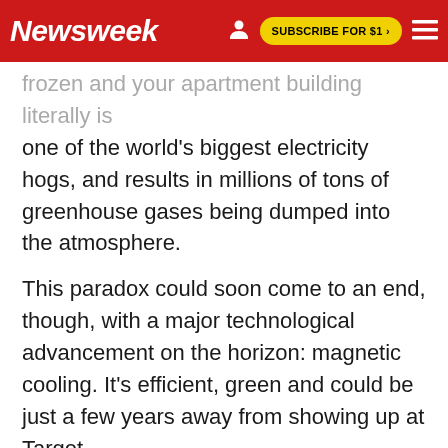Newsweek | SUBSCRIBE FOR $1 >
one of the world's biggest electricity hogs, and results in millions of tons of greenhouse gases being dumped into the atmosphere.
This paradox could soon come to an end, though, with a major technological advancement on the horizon: magnetic cooling. It's efficient, green and could be just a few years away from showing up at Target.